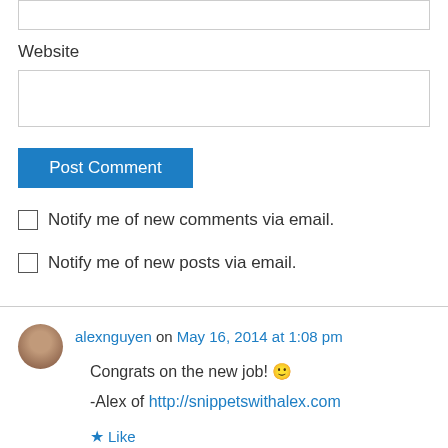Website
Post Comment
Notify me of new comments via email.
Notify me of new posts via email.
alexnguyen on May 16, 2014 at 1:08 pm
Congrats on the new job! 🙂
-Alex of http://snippetswithalex.com
Like